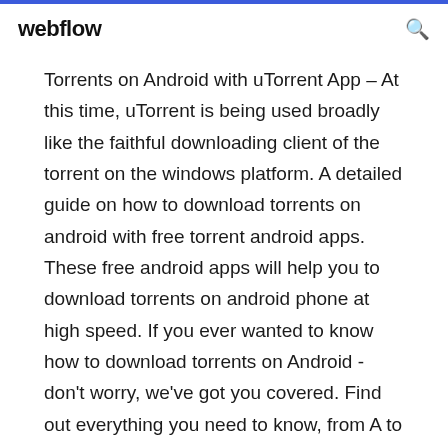webflow
Torrents on Android with uTorrent App – At this time, uTorrent is being used broadly like the faithful downloading client of the torrent on the windows platform. A detailed guide on how to download torrents on android with free torrent android apps. These free android apps will help you to download torrents on android phone at high speed. If you ever wanted to know how to download torrents on Android - don't worry, we've got you covered. Find out everything you need to know, from A to Z. How to Download Torrents on your Android Phone, Let me tell you one little secret; who knows... you might thank me later. YOU CAN Download Torrents ON YOUR